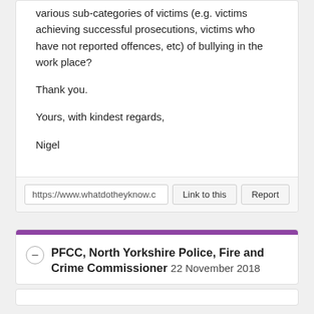various sub-categories of victims (e.g. victims achieving successful prosecutions, victims who have not reported offences, etc) of bullying in the work place?
Thank you.
Yours, with kindest regards,
Nigel
https://www.whatdotheyknow.c
PFCC, North Yorkshire Police, Fire and Crime Commissioner 22 November 2018